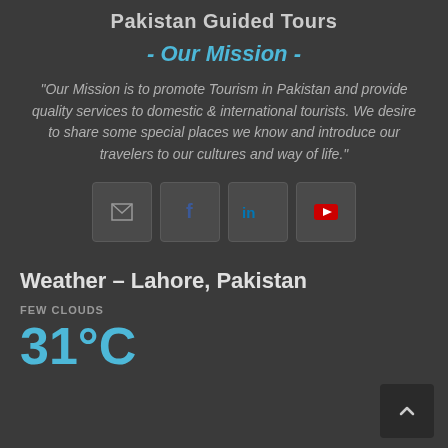Pakistan Guided Tours
- Our Mission -
"Our Mission is to promote Tourism in Pakistan and provide quality services to domestic & international tourists. We desire to share some special places we know and introduce our travelers to our cultures and way of life."
[Figure (infographic): Social media icon buttons: email (envelope), Facebook (f), LinkedIn (in), YouTube (play button)]
Weather – Lahore, Pakistan
FEW CLOUDS
31°C